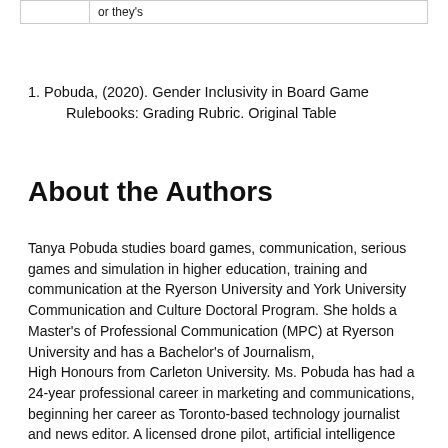|  | or they's |
1. Pobuda, (2020). Gender Inclusivity in Board Game Rulebooks: Grading Rubric. Original Table
About the Authors
Tanya Pobuda studies board games, communication, serious games and simulation in higher education, training and communication at the Ryerson University and York University Communication and Culture Doctoral Program. She holds a Master's of Professional Communication (MPC) at Ryerson University and has a Bachelor's of Journalism, High Honours from Carleton University. Ms. Pobuda has had a 24-year professional career in marketing and communications, beginning her career as Toronto-based technology journalist and news editor. A licensed drone pilot, artificial intelligence practitioner and has an advanced education in cybersecurity with